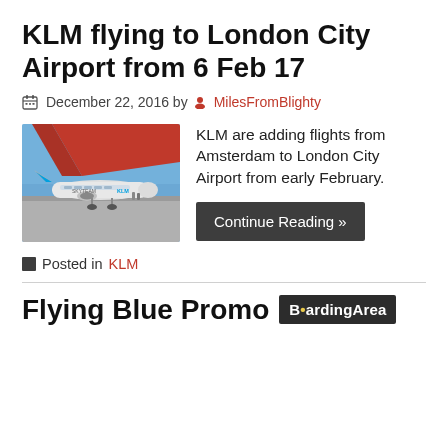KLM flying to London City Airport from 6 Feb 17
December 22, 2016 by MilesFromBlighty
[Figure (photo): KLM airplane on tarmac with red overhang/canopy, SkyTeam livery visible]
KLM are adding flights from Amsterdam to London City Airport from early February.
Continue Reading »
Posted in KLM
Flying Blue Promo